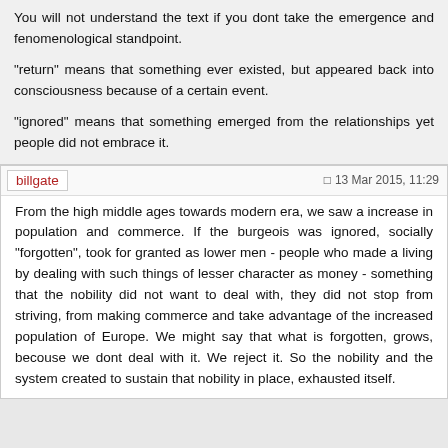You will not understand the text if you dont take the emergence and fenomenological standpoint.
"return" means that something ever existed, but appeared back into consciousness because of a certain event.
"ignored" means that something emerged from the relationships yet people did not embrace it.
billgate
13 Mar 2015, 11:29
From the high middle ages towards modern era, we saw a increase in population and commerce. If the burgeois was ignored, socially "forgotten", took for granted as lower men - people who made a living by dealing with such things of lesser character as money - something that the nobility did not want to deal with, they did not stop from striving, from making commerce and take advantage of the increased population of Europe. We might say that what is forgotten, grows, becouse we dont deal with it. We reject it. So the nobility and the system created to sustain that nobility in place, exhausted itself.